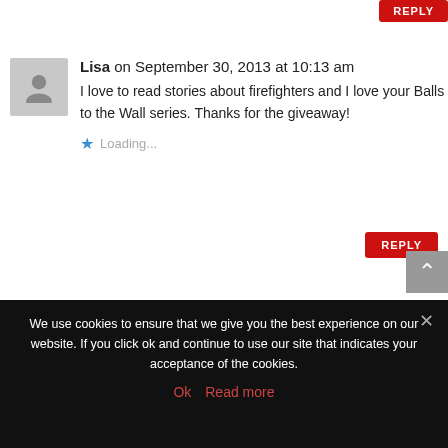REPLY
Lisa on September 30, 2013 at 10:13 am
I love to read stories about firefighters and I love your Balls to the Wall series.  Thanks for the giveaway!
Loading...
REPLY
Debra E on September 30, 2013 at 10:28 am
This series is new to me but sounds fantastic!  Thanks for the giveaway.
We use cookies to ensure that we give you the best experience on our website. If you click ok and continue to use our site that indicates your acceptance of the cookies.
Ok   Read more